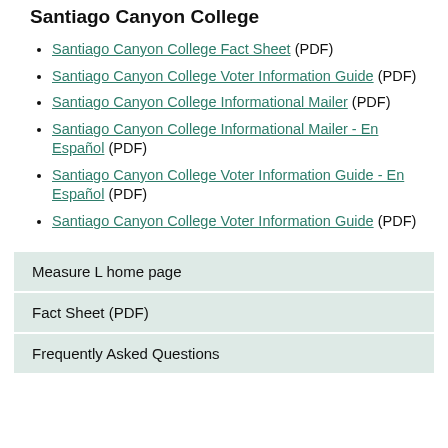Santiago Canyon College
Santiago Canyon College Fact Sheet (PDF)
Santiago Canyon College Voter Information Guide (PDF)
Santiago Canyon College Informational Mailer (PDF)
Santiago Canyon College Informational Mailer - En Español (PDF)
Santiago Canyon College Voter Information Guide - En Español (PDF)
Santiago Canyon College Voter Information Guide (PDF)
| Measure L home page |
| Fact Sheet (PDF) |
| Frequently Asked Questions |